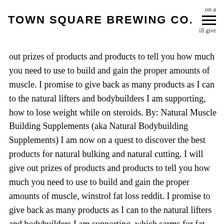TOWN SQUARE BREWING CO.
on a ... ill give out prizes of products and products to tell you how much you need to use to build and gain the proper amounts of muscle. I promise to give back as many products as I can to the natural lifters and bodybuilders I am supporting, how to lose weight while on steroids. By: Natural Muscle Building Supplements (aka Natural Bodybuilding Supplements) I am now on a quest to discover the best products for natural bulking and natural cutting. I will give out prizes of products and products to tell you how much you need to use to build and gain the proper amounts of muscle, winstrol fat loss reddit. I promise to give back as many products as I can to the natural lifters and bodybuilders I am supporting, which sarms for fat loss. By: The best selling brand name natural muscle building supplements On top of that Natural